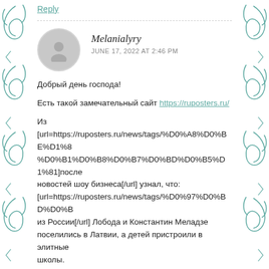Reply
Melanialyry
JUNE 17, 2022 AT 2:46 PM
Добрый день господа!
Есть такой замечательный сайт https://ruposters.ru/
Из [url=https://ruposters.ru/news/tags/%D0%A8%D0%BE%D1%83%D0%B1%D0%B8%D0%B7%D0%BD%D0%B5%D1%81]последних новостей шоу бизнеса[/url] узнал, что: [url=https://ruposters.ru/news/tags/%D0%97%D0%BD%D0%B0%D0%BC%D0%B5%D0%BD%D0%B8%D1%82%D0%BE%D1%81%D1%82%D0%B8]из России[/url] Лобода и Константин Меладзе поселились в Латвии, а детей пристроили в элитные школы.
А певец Николай Басков впервые высказался по